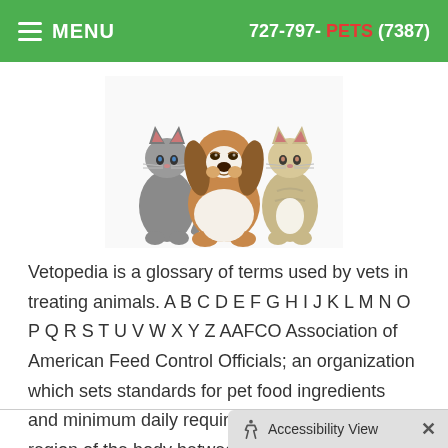MENU  727-797-PETS (7387)
[Figure (photo): Photo of two cats and a basset hound dog sitting together on a white background]
Vetopedia is a glossary of terms used by vets in treating animals. A B C D E F G H I J K L M N O P Q R S T U V W X Y Z AAFCO Association of American Feed Control Officials; an organization which sets standards for pet food ingredients and minimum daily requirements. Abdomen A region of the body between
Read more